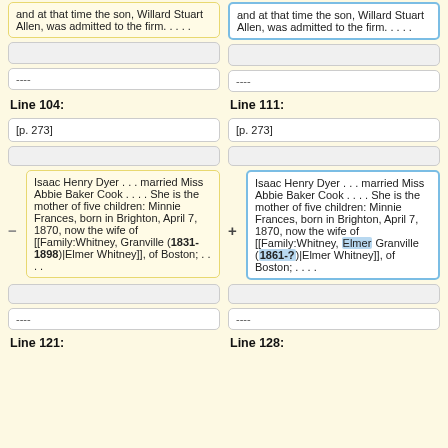and at that time the son, Willard Stuart Allen, was admitted to the firm.  . . . .
and at that time the son, Willard Stuart Allen, was admitted to the firm.  . . . .
----
----
Line 104:
Line 111:
[p. 273]
[p. 273]
Isaac Henry Dyer . . . married Miss Abbie Baker Cook . . . .  She is the mother of five children:  Minnie Frances, born in Brighton, April 7, 1870, now the wife of [[Family:Whitney, Granville (1831-1898)|Elmer Whitney]], of Boston; . . . .
Isaac Henry Dyer . . . married Miss Abbie Baker Cook . . . .  She is the mother of five children:  Minnie Frances, born in Brighton, April 7, 1870, now the wife of [[Family:Whitney, Elmer Granville (1861-?)|Elmer Whitney]], of Boston; . . . .
----
----
Line 121:
Line 128: